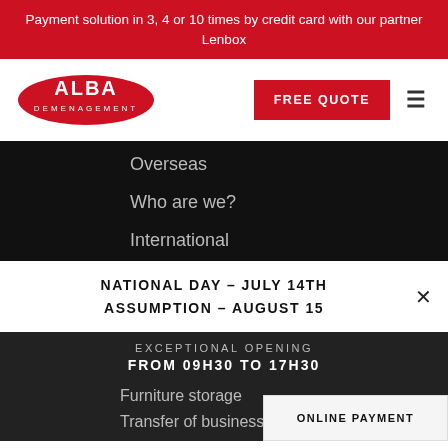Payment solution in 3, 4 or 10 times by credit card with our partner Lenbox
[Figure (logo): Alba Demenagement red oval logo with white text]
FREE QUOTE
Overseas
Who are we?
International
NATIONAL DAY – JULY 14TH
ASSUMPTION – AUGUST 15
EXCEPTIONAL OPENING
FROM 09H30 TO 17H30
Furniture storage
Transfer of business
ONLINE PAYMENT